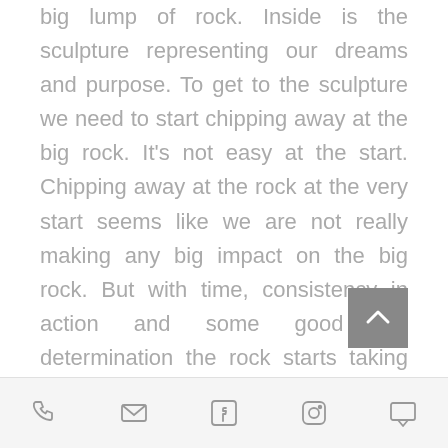big lump of rock. Inside is the sculpture representing our dreams and purpose. To get to the sculpture we need to start chipping away at the big rock. It's not easy at the start. Chipping away at the rock at the very start seems like we are not really making any big impact on the big rock. But with time, consistency in action and some good old determination the rock starts taking some shape. We can actually see that our actions are having an impact. Change is happening.
It is such an interesting illustration as a parallel to what we experience when
[Figure (other): Grey square scroll-to-top button with upward chevron arrow icon]
Phone, Email, Facebook, Instagram, Chat icons navigation bar